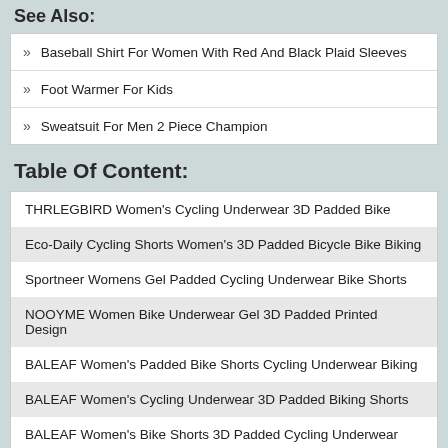See Also:
» Baseball Shirt For Women With Red And Black Plaid Sleeves
» Foot Warmer For Kids
» Sweatsuit For Men 2 Piece Champion
Table Of Content:
THRLEGBIRD Women's Cycling Underwear 3D Padded Bike
Eco-Daily Cycling Shorts Women's 3D Padded Bicycle Bike Biking
Sportneer Womens Gel Padded Cycling Underwear Bike Shorts
NOOYME Women Bike Underwear Gel 3D Padded Printed Design
BALEAF Women's Padded Bike Shorts Cycling Underwear Biking
BALEAF Women's Cycling Underwear 3D Padded Biking Shorts
BALEAF Women's Bike Shorts 3D Padded Cycling Underwear
Champion Women's Absolute Bike Short With SmoothTec
BALEAF Women's Cycling Underwear Padded Bike Shorts Biking